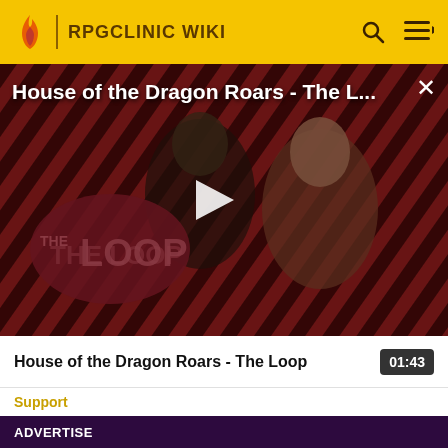RPGCLINIC WIKI
[Figure (screenshot): Video thumbnail for 'House of the Dragon Roars - The Loop' showing two characters from the show against a diagonal striped red and black background with The Loop logo overlay and a white play button triangle in the center]
House of the Dragon Roars - The L...
House of the Dragon Roars - The Loop  01:43
Support
ADVERTISE